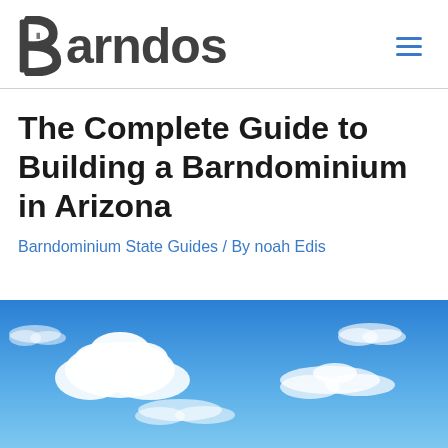Barndos
The Complete Guide to Building a Barndominium in Arizona
Barndominium State Guides / By noah Edis
[Figure (photo): Blue sky with white clouds, hero image for article about building a barndominium in Arizona]